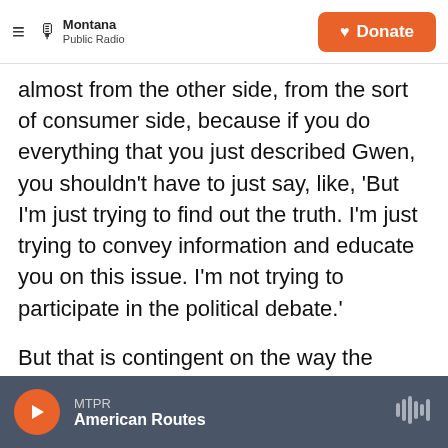Montana Public Radio | Donate
almost from the other side, from the sort of consumer side, because if you do everything that you just described Gwen, you shouldn't have to just say, like, 'But I'm just trying to find out the truth. I'm just trying to convey information and educate you on this issue. I'm not trying to participate in the political debate.'
But that is contingent on the way the person consumes it, not the way that you produce it. It is true that we have to live up to the highest standards, we have to do all the hard work, we have to go to all these meetings and dig through all
MTPR | American Routes